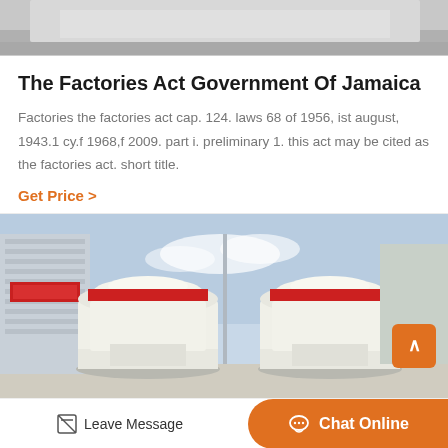[Figure (photo): Top partial photo of a gray concrete/stone surface, industrial material]
The Factories Act Government Of Jamaica
Factories the factories act cap. 124. laws 68 of 1956, ist august, 1943.1 cy.f 1968,f 2009. part i. preliminary 1. this act may be cited as the factories act. short title.
Get Price >
[Figure (photo): Industrial machinery photo showing two large white cone-shaped grinding mills with orange/red bands, in a factory yard with buildings in background]
Leave Message   Chat Online